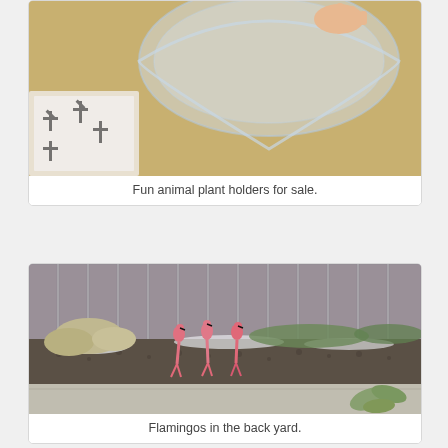[Figure (photo): Person holding a clear plastic storage container above a patterned rug, with wood surface visible in background.]
Fun animal plant holders for sale.
[Figure (photo): Pink plastic flamingo lawn ornaments standing in a backyard with snow-dusted ground, rocks, and a gray wooden fence.]
Flamingos in the back yard.
[Figure (photo): Framed artwork on a gold/yellow wall depicting a dramatic scene with dark clouds and stylized imagery.]